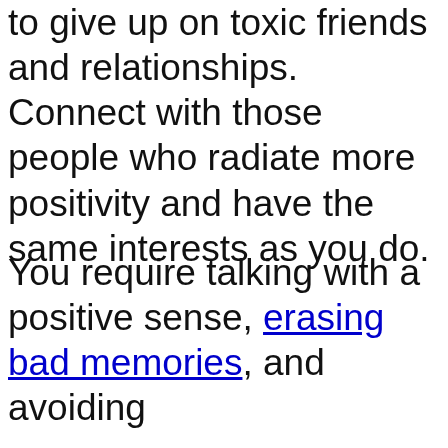to give up on toxic friends and relationships. Connect with those people who radiate more positivity and have the same interests as you do.
You require talking with a positive sense, erasing bad memories, and avoiding